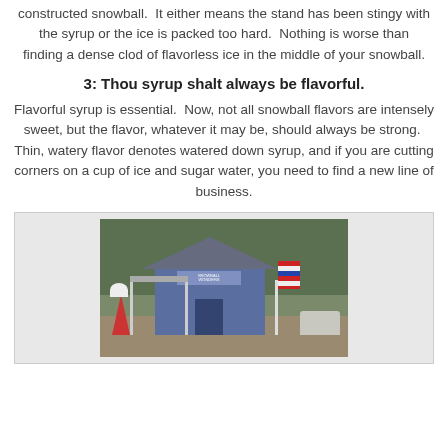constructed snowball.  It either means the stand has been stingy with the syrup or the ice is packed too hard.  Nothing is worse than finding a dense clod of flavorless ice in the middle of your snowball.
3: Thou syrup shalt always be flavorful.
Flavorful syrup is essential.  Now, not all snowball flavors are intensely sweet, but the flavor, whatever it may be, should always be strong.  Thin, watery flavor denotes watered down syrup, and if you are cutting corners on a cup of ice and sugar water, you need to find a new line of business.
[Figure (photo): Photograph of a small blue snowball stand with a red and white cone sign, a canopy/awning, an American flag, and a white vehicle parked to the right, surrounded by trees.]